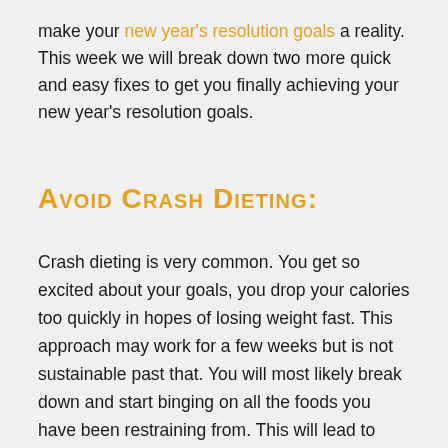make your new year's resolution goals a reality. This week we will break down two more quick and easy fixes to get you finally achieving your new year's resolution goals.
Avoid Crash Dieting:
Crash dieting is very common. You get so excited about your goals, you drop your calories too quickly in hopes of losing weight fast. This approach may work for a few weeks but is not sustainable past that. You will most likely break down and start binging on all the foods you have been restraining from. This will lead to reverting back to your old ways. Instead try dropping your calories slowly and focusing on healthy choices (not salad all day every day). Eat a balanced diet including lean meats, nuts, seeds, vegetables,